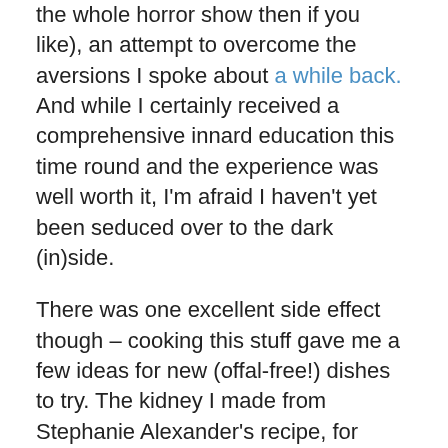the whole horror show then if you like), an attempt to overcome the aversions I spoke about a while back. And while I certainly received a comprehensive innard education this time round and the experience was well worth it, I'm afraid I haven't yet been seduced over to the dark (in)side.
There was one excellent side effect though – cooking this stuff gave me a few ideas for new (offal-free!) dishes to try. The kidney I made from Stephanie Alexander's recipe, for example, came with a truly delicious spinach in a marsala sauce, which I would never ever have come across if I hadn't been forced to go there for the K-word. And while my tripe was not something to write home about by any stretch – again – the braising liquid and other ingredients were incredibly good. The whole time we ate it I was thinking how good it would be with octopus instead of